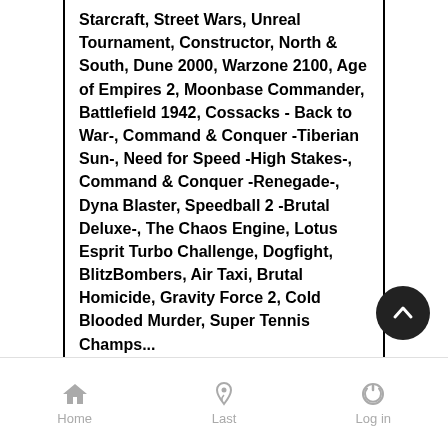Starcraft, Street Wars, Unreal Tournament, Constructor, North & South, Dune 2000, Warzone 2100, Age of Empires 2, Moonbase Commander, Battlefield 1942, Cossacks - Back to War-, Command & Conquer -Tiberian Sun-, Need for Speed -High Stakes-, Command & Conquer -Renegade-, Dyna Blaster, Speedball 2 -Brutal Deluxe-, The Chaos Engine, Lotus Esprit Turbo Challenge, Dogfight, BlitzBombers, Air Taxi, Brutal Homicide, Gravity Force 2, Cold Blooded Murder, Super Tennis Champs...
...and many more !
> Free & Permanent Access ! (24/7) <
•If you wish to add more favorite games to the players list, it's HERE
Home  Last  Log in